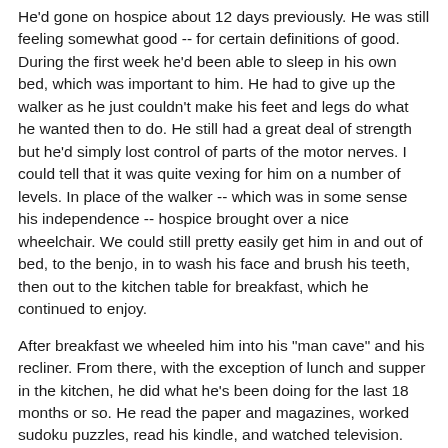He'd gone on hospice about 12 days previously. He was still feeling somewhat good -- for certain definitions of good. During the first week he'd been able to sleep in his own bed, which was important to him. He had to give up the walker as he just couldn't make his feet and legs do what he wanted then to do. He still had a great deal of strength but he'd simply lost control of parts of the motor nerves. I could tell that it was quite vexing for him on a number of levels. In place of the walker -- which was in some sense his independence -- hospice brought over a nice wheelchair. We could still pretty easily get him in and out of bed, to the benjo, in to wash his face and brush his teeth, then out to the kitchen table for breakfast, which he continued to enjoy.
After breakfast we wheeled him into his "man cave" and his recliner. From there, with the exception of lunch and supper in the kitchen, he did what he's been doing for the last 18 months or so. He read the paper and magazines, worked sudoku puzzles, read his kindle, and watched television. Then back to bed for a good night's sleep and start it all over in the morning. Every other day I drained about 4 liters of fluid from his abdomen.